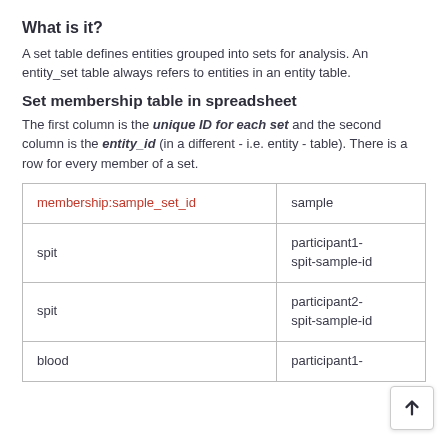What is it?
A set table defines entities grouped into sets for analysis. An entity_set table always refers to entities in an entity table.
Set membership table in spreadsheet
The first column is the unique ID for each set and the second column is the entity_id (in a different - i.e. entity - table). There is a row for every member of a set.
| membership:sample_set_id | sample |
| --- | --- |
| spit | participant1-spit-sample-id |
| spit | participant2-spit-sample-id |
| blood | participant1- |